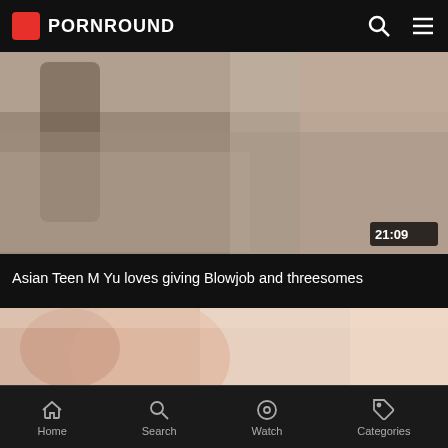PORNROUND
[Figure (photo): Video thumbnail showing two figures on a bed, duration badge showing 21:09]
Asian Teen M Yu loves giving Blowjob and threesomes
[Figure (photo): Second video thumbnail showing a close-up face]
Home  Search  Watch  Categories